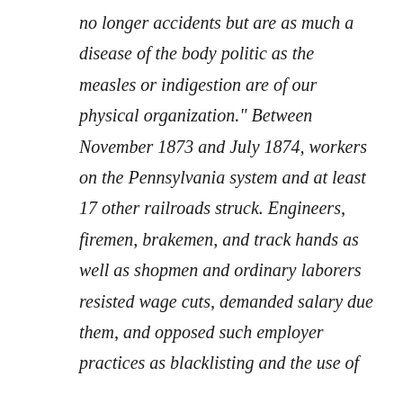no longer accidents but are as much a disease of the body politic as the measles or indigestion are of our physical organization." Between November 1873 and July 1874, workers on the Pennsylvania system and at least 17 other railroads struck. Engineers, firemen, brakemen, and track hands as well as shopmen and ordinary laborers resisted wage cuts, demanded salary due them, and opposed such employer practices as blacklisting and the use of